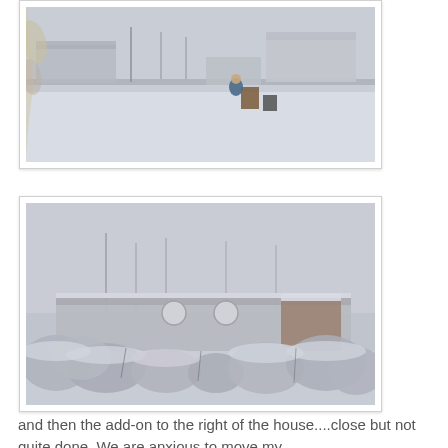[Figure (photo): Winter snow scene showing a snowy yard/field with buildings and structures in the background, and figures or objects visible in the snow. Trees visible in background. Viewed partially from inside through a window.]
[Figure (photo): Winter snow scene showing a snow-covered building or house addition viewed from a distance, with snow-covered bushes and shrubs in the foreground and bare trees in the background against a grey sky.]
and then the add-on to the right of the house....close but not quite done. We are anxious to move my